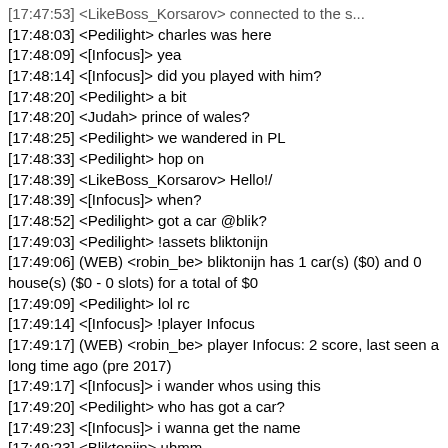[17:48:03] <Pedilight> charles was here
[17:48:09] <[Infocus]> yea
[17:48:14] <[Infocus]> did you played with him?
[17:48:20] <Pedilight> a bit
[17:48:20] <Judah> prince of wales?
[17:48:25] <Pedilight> we wandered in PL
[17:48:33] <Pedilight> hop on
[17:48:39] <LikeBoss_Korsarov> Hello!/
[17:48:39] <[Infocus]> when?
[17:48:52] <Pedilight> got a car @blik?
[17:49:03] <Pedilight> !assets bliktonijn
[17:49:06] (WEB) <robin_be> bliktonijn has 1 car(s) ($0) and 0 house(s) ($0 - 0 slots) for a total of $0
[17:49:09] <Pedilight> lol rc
[17:49:14] <[Infocus]> !player Infocus
[17:49:17] (WEB) <robin_be> player Infocus: 2 score, last seen a long time ago (pre 2017)
[17:49:17] <[Infocus]> i wander whos using this
[17:49:20] <Pedilight> who has got a car?
[17:49:23] <[Infocus]> i wanna get the name
[17:49:23] <Bliktonijn> uhmm
[17:49:28] <Bliktonijn> only rc
[17:49:31] <Pedilight> who has got a car???
[17:49:31] <Judah> what name
[17:49:36] <[Infocus]> the Infocus name